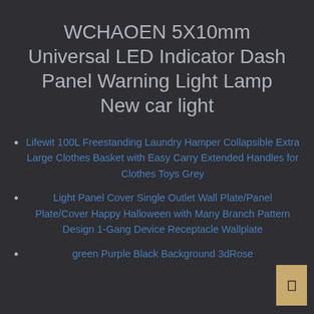WCHAOEN 5X10mm Universal LED Indicator Dash Panel Warning Light Lamp New car light
Lifewit 100L Freestanding Laundry Hamper Collapsible Extra Large Clothes Basket with Easy Carry Extended Handles for Clothes Toys Grey
Light Panel Cover Single Outlet Wall Plate/Panel Plate/Cover Happy Halloween with Many Branch Pattern Design 1-Gang Device Receptacle Wallplate
green Purple Black Background 3dRose